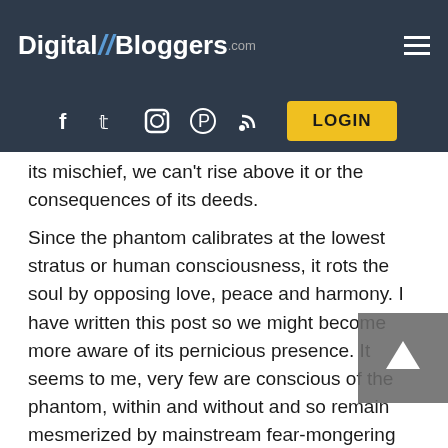Digital//Bloggers.com
its mischief, we can't rise above it or the consequences of its deeds.
Since the phantom calibrates at the lowest stratus or human consciousness, it rots the soul by opposing love, peace and harmony. I have written this post so we might become more aware of its pernicious presence. It seems to me, very few are conscious of the phantom, within and without and so remain mesmerized by mainstream fear-mongering media and social media toxicity.
We see this phantom's presence everywhere in life.